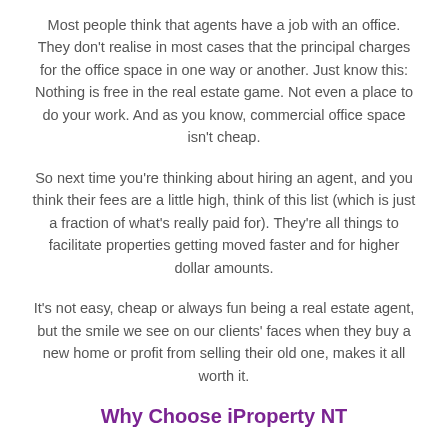Most people think that agents have a job with an office. They don't realise in most cases that the principal charges for the office space in one way or another. Just know this: Nothing is free in the real estate game. Not even a place to do your work. And as you know, commercial office space isn't cheap.
So next time you're thinking about hiring an agent, and you think their fees are a little high, think of this list (which is just a fraction of what's really paid for). They're all things to facilitate properties getting moved faster and for higher dollar amounts.
It's not easy, cheap or always fun being a real estate agent, but the smile we see on our clients' faces when they buy a new home or profit from selling their old one, makes it all worth it.
Why Choose iProperty NT